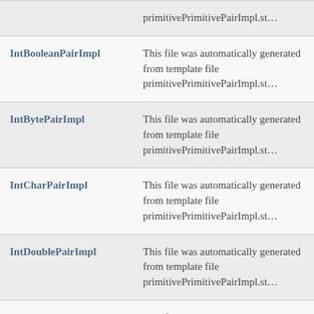| Class | Description |
| --- | --- |
| [partial top row] | primitivePrimitivePairImpl.st… |
| IntBooleanPairImpl | This file was automatically generated from template file primitivePrimitivePairImpl.st… |
| IntBytePairImpl | This file was automatically generated from template file primitivePrimitivePairImpl.st… |
| IntCharPairImpl | This file was automatically generated from template file primitivePrimitivePairImpl.st… |
| IntDoublePairImpl | This file was automatically generated from template file primitivePrimitivePairImpl.st… |
| IntFloatPairImpl | This file was automatically generated from template file primitivePrimitivePairImpl.st… |
| IntIntPairImpl | This file was automatically generated from template file primitivePrimitivePairImpl.st… |